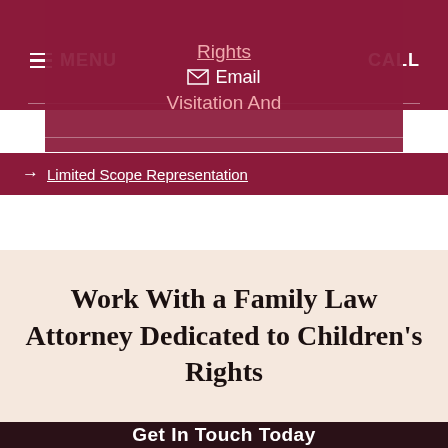MENU | Email | CALL
Rights
Email
Visitation And
→ Limited Scope Representation
Work With a Family Law Attorney Dedicated to Children's Rights
Get In Touch Today